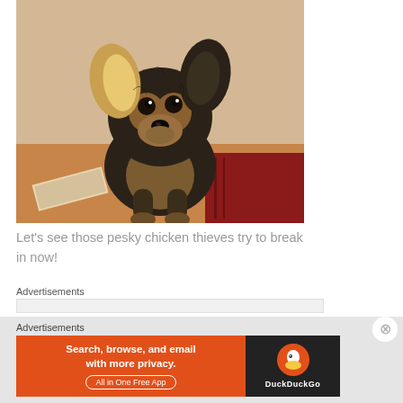[Figure (photo): A small Yorkshire Terrier puppy with black and tan fur, large ears, and dark eyes, standing on a wooden floor with a red rug/mat visible in the background.]
Let's see those pesky chicken thieves try to break in now!
Advertisements
[Figure (screenshot): DuckDuckGo advertisement banner: orange left panel with text 'Search, browse, and email with more privacy. All in One Free App' and dark right panel with DuckDuckGo logo and name.]